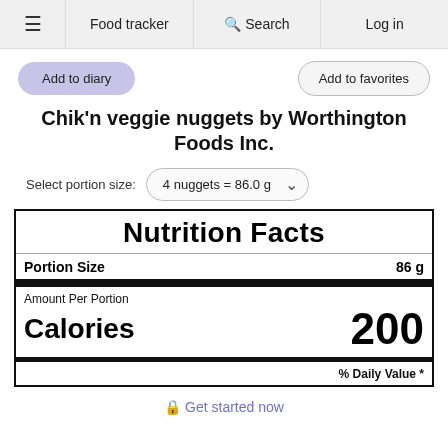≡  Food tracker  🔍 Search  Log in
Add to diary
Add to favorites
Chik'n veggie nuggets by Worthington Foods Inc.
Select portion size: 4 nuggets = 86.0 g
| Nutrition Facts |  |
| --- | --- |
| Portion Size | 86 g |
| Amount Per Portion |  |
| Calories | 200 |
| % Daily Value * |  |
🔒 Get started now